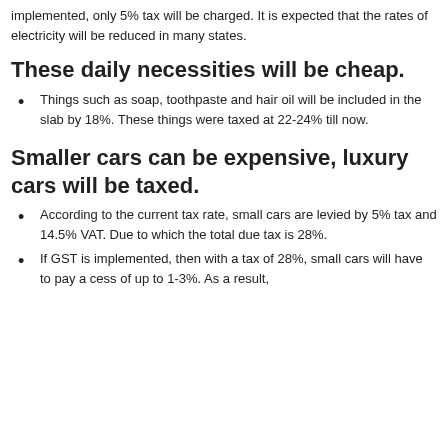implemented, only 5% tax will be charged. It is expected that the rates of electricity will be reduced in many states.
These daily necessities will be cheap.
Things such as soap, toothpaste and hair oil will be included in the slab by 18%. These things were taxed at 22-24% till now.
Smaller cars can be expensive, luxury cars will be taxed.
According to the current tax rate, small cars are levied by 5% tax and 14.5% VAT. Due to which the total due tax is 28%.
If GST is implemented, then with a tax of 28%, small cars will have to pay a cess of up to 1-3%. As a result,